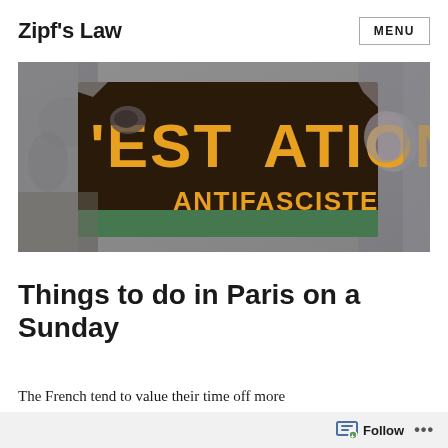Zipf's Law
[Figure (photo): A street photograph showing a partially torn poster reading 'ESTATION ANTIFASCISTE' in bold yellow/orange letters on a dark background, mounted on a weathered concrete wall.]
Things to do in Paris on a Sunday
The French tend to value their time off more